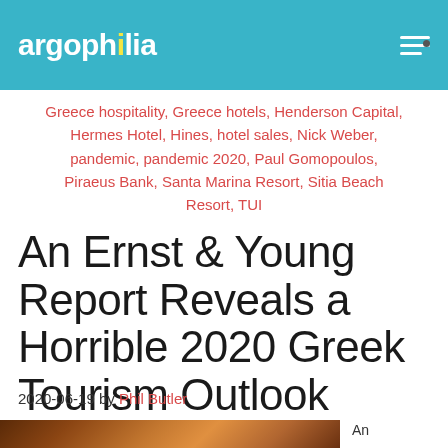argophilia
Greece hospitality, Greece hotels, Henderson Capital, Hermes Hotel, Hines, hotel sales, Nick Weber, pandemic, pandemic 2020, Paul Gomopoulos, Piraeus Bank, Santa Marina Resort, Sitia Beach Resort, TUI
An Ernst & Young Report Reveals a Horrible 2020 Greek Tourism Outlook
2020-06-19 by Phil Butler
[Figure (photo): Partial view of a photo at the bottom of the page, showing a brown/orange textured surface, likely stone or landscape]